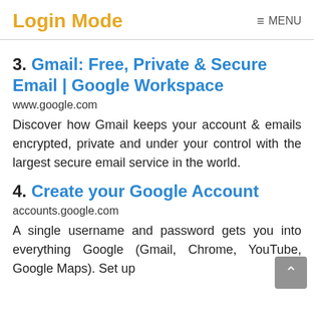Login Mode  ≡ MENU
3. Gmail: Free, Private & Secure Email | Google Workspace
www.google.com
Discover how Gmail keeps your account & emails encrypted, private and under your control with the largest secure email service in the world.
4. Create your Google Account
accounts.google.com
A single username and password gets you into everything Google (Gmail, Chrome, YouTube, Google Maps). Set up